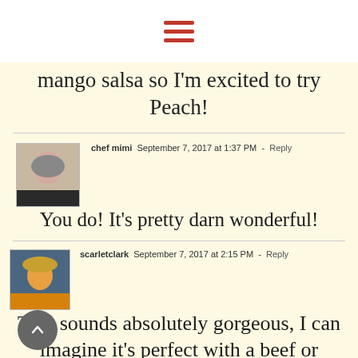[Figure (other): Hamburger menu icon with three horizontal red lines]
mango salsa so I'm excited to try Peach!
chef mimi  September 7, 2017 at 1:37 PM - Reply
[Figure (photo): Avatar photo of chef mimi - woman with short grey hair]
You do! It’s pretty darn wonderful!
scarletclark  September 7, 2017 at 2:15 PM - Reply
[Figure (photo): Avatar photo of scarletclark - woman in yellow top with hat]
This sounds absolutely gorgeous, I can imagine it’s perfect with a beef or gammon steak. In the UK it’s common